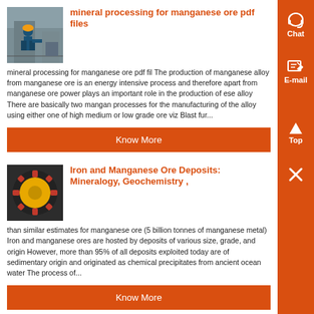mineral processing for manganese ore pdf files
[Figure (photo): Worker in industrial facility, mineral processing plant]
mineral processing for manganese ore pdf fil The production of manganese alloy from manganese ore is an energy intensive process and therefore apart from manganese ore power plays an important role in the production of ese alloy There are basically two mangan processes for the manufacturing of the alloy using either one of high medium or low grade ore viz Blast fur...
Know More
Iron and Manganese Ore Deposits: Mineralogy, Geochemistry ,
[Figure (photo): Yellow industrial equipment or mineral/ore specimen close-up]
than similar estimates for manganese ore (5 billion tonnes of manganese metal) Iron and manganese ores are hosted by deposits of various size, grade, and origin However, more than 95% of all deposits exploited today are of sedimentary origin and originated as chemical precipitates from ancient ocean water The process of...
Know More